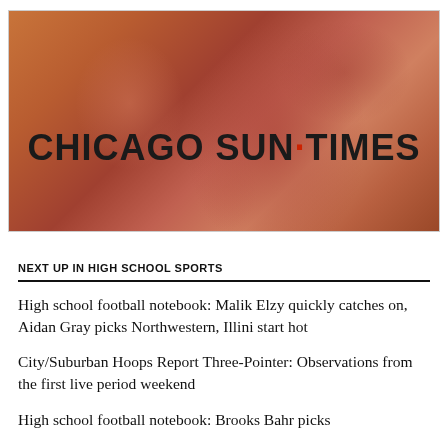[Figure (photo): Blurred action photo of a football player with warm orange/red tones, overlaid with Chicago Sun-Times logo text]
NEXT UP IN HIGH SCHOOL SPORTS
High school football notebook: Malik Elzy quickly catches on, Aidan Gray picks Northwestern, Illini start hot
City/Suburban Hoops Report Three-Pointer: Observations from the first live period weekend
High school football notebook: Brooks Bahr picks